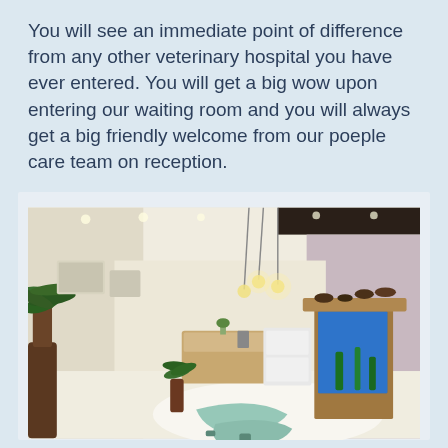You will see an immediate point of difference from any other veterinary hospital you have ever entered. You will get a big wow upon entering our waiting room and you will always get a big friendly welcome from our poeple care team on reception.
[Figure (photo): Interior photo of a modern veterinary hospital waiting room featuring tropical potted plants, pendant lights, a reception desk, a large aquarium, and light blue curved seating/benches on a white floor.]